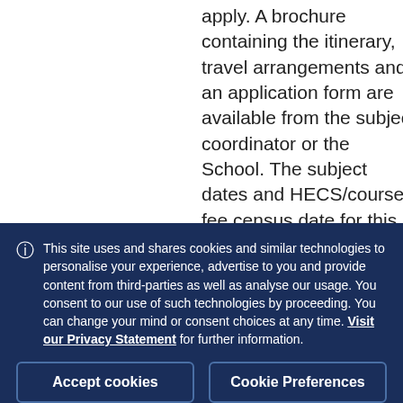apply. A brochure containing the itinerary, travel arrangements and an application form are available from the subject coordinator or the School. The subject dates and HECS/course fee census date for this subject change
This site uses and shares cookies and similar technologies to personalise your experience, advertise to you and provide content from third-parties as well as analyse our usage. You consent to our use of such technologies by proceeding. You can change your mind or consent choices at any time. Visit our Privacy Statement for further information.
Accept cookies
Cookie Preferences